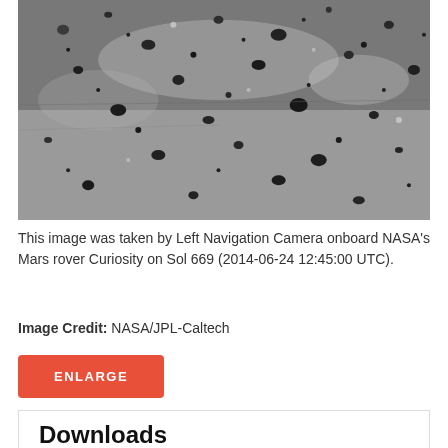[Figure (photo): Black and white image of the Martian surface taken by NASA's Curiosity rover Left Navigation Camera, showing rocky terrain with scattered small rocks and pebbles on a dusty surface.]
This image was taken by Left Navigation Camera onboard NASA's Mars rover Curiosity on Sol 669 (2014-06-24 12:45:00 UTC).
Image Credit: NASA/JPL-Caltech
ENLARGE
Downloads